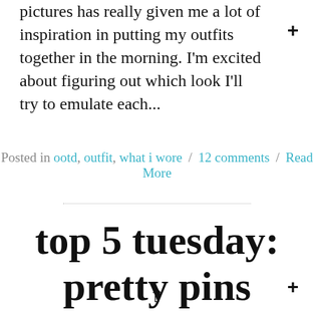pictures has really given me a lot of inspiration in putting my outfits together in the morning. I'm excited about figuring out which look I'll try to emulate each...
Posted in ootd, outfit, what i wore / 12 comments / Read More
top 5 tuesday: pretty pins